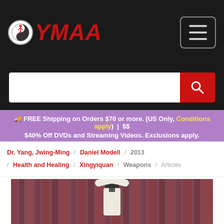YMAA
FREE Shipping on Orders $70 or more. (US Only, Conditions apply) | $$ $40% Off DVDs and Streaming Videos. Exclusions apply.
Dr. Yang, Jwing-Ming / Daniel Modell / 2013 / Health and Healing / Xingyiquan / Weapons / Articles
[Figure (photo): Person in white martial arts uniform performing a pose with hands raised above head, in front of a red-lit curtain backdrop]